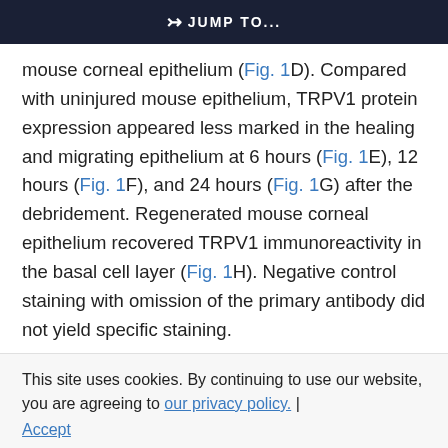JUMP TO...
mouse corneal epithelium (Fig. 1D). Compared with uninjured mouse epithelium, TRPV1 protein expression appeared less marked in the healing and migrating epithelium at 6 hours (Fig. 1E), 12 hours (Fig. 1F), and 24 hours (Fig. 1G) after the debridement. Regenerated mouse corneal epithelium recovered TRPV1 immunoreactivity in the basal cell layer (Fig. 1H). Negative control staining with omission of the primary antibody did not yield specific staining.
This site uses cookies. By continuing to use our website, you are agreeing to our privacy policy. Accept
Figure 1 TRPV1 protein expression in mouse corneal epithelium. (A) TRPV1 protein is detected in the basal layer of uninjured epithelium of Wistar cats (B–G)...